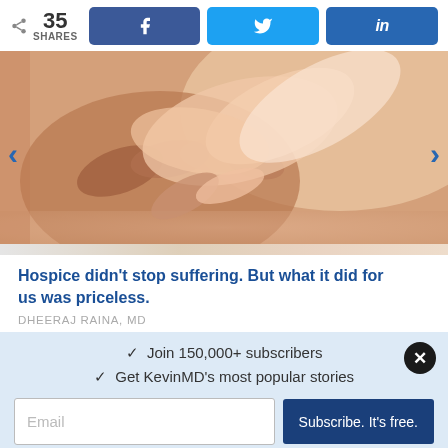35 SHARES
[Figure (photo): Close-up photo of two pairs of hands clasped together — an older person's wrinkled hand being held by younger hands, suggesting care and comfort]
Hospice didn't stop suffering. But what it did for us was priceless.
DHEERAJ RAINA, MD
✓  Join 150,000+ subscribers
✓  Get KevinMD's most popular stories
Email | Subscribe. It's free.